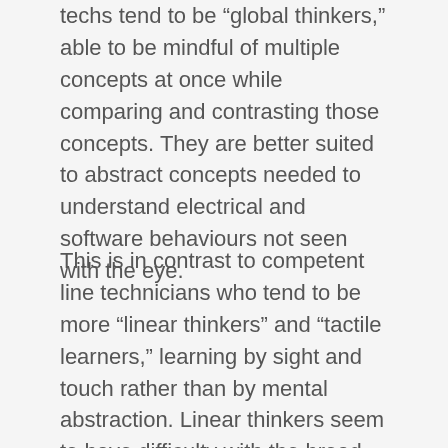techs tend to be “global thinkers,” able to be mindful of multiple concepts at once while comparing and contrasting those concepts. They are better suited to abstract concepts needed to understand electrical and software behaviours not seen with the eye.
This is in contrast to competent line technicians who tend to be more “linear thinkers” and “tactile learners,” learning by sight and touch rather than by mental abstraction. Linear thinkers seem to have difficulty with the broad critical thinking skills required to analyze a problem quickly and correctly the first time.